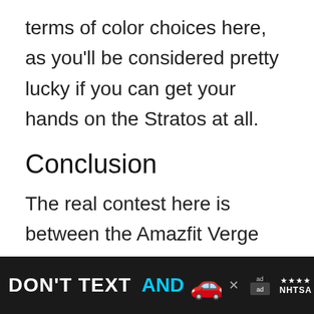terms of color choices here, as you'll be considered pretty lucky if you can get your hands on the Stratos at all.
Conclusion
The real contest here is between the Amazfit Verge and the Stratos as the Bip caters to a completely different market segment. And of the two high-end smartwatches, the choices couldn't be
[Figure (other): Advertisement banner at bottom: 'DON'T TEXT AND [car emoji]' with NHTSA logo and ad badge, on dark background]